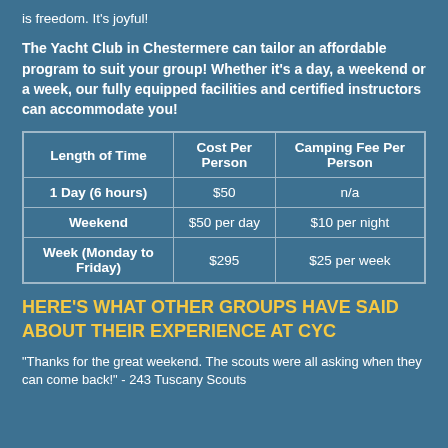is freedom. It’s joyful!
The Yacht Club in Chestermere can tailor an affordable program to suit your group! Whether it’s a day, a weekend or a week, our fully equipped facilities and certified instructors can accommodate you!
| Length of Time | Cost Per Person | Camping Fee Per Person |
| --- | --- | --- |
| 1 Day  (6 hours) | $50 | n/a |
| Weekend | $50 per day | $10 per night |
| Week (Monday to Friday) | $295 | $25 per week |
HERE'S WHAT OTHER GROUPS HAVE SAID ABOUT THEIR EXPERIENCE AT CYC
"Thanks for the great weekend. The scouts were all asking when they can come back!" - 243 Tuscany Scouts